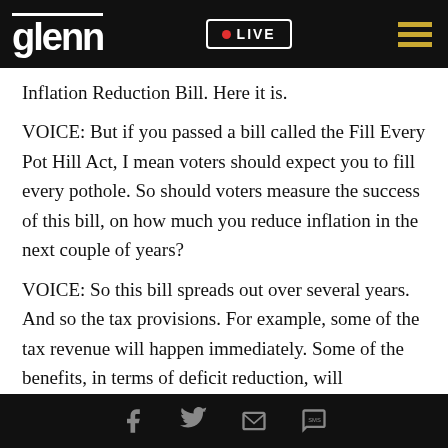glenn  LIVE
Inflation Reduction Bill. Here it is.
VOICE: But if you passed a bill called the Fill Every Pot Hill Act, I mean voters should expect you to fill every pothole. So should voters measure the success of this bill, on how much you reduce inflation in the next couple of years?
VOICE: So this bill spreads out over several years. And so the tax provisions. For example, some of the tax revenue will happen immediately. Some of the benefits, in terms of deficit reduction, will
Facebook  Twitter  Email  SMS